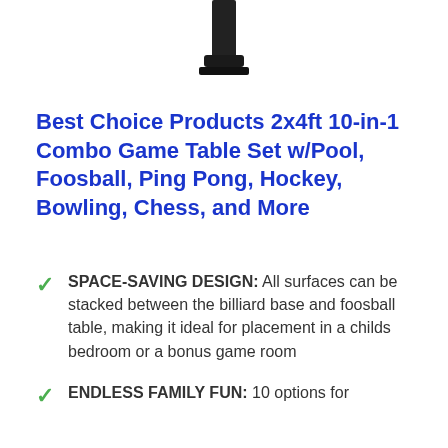[Figure (photo): Partial image of a combo game table product, showing the underside/leg portion against a white background]
Best Choice Products 2x4ft 10-in-1 Combo Game Table Set w/Pool, Foosball, Ping Pong, Hockey, Bowling, Chess, and More
SPACE-SAVING DESIGN: All surfaces can be stacked between the billiard base and foosball table, making it ideal for placement in a childs bedroom or a bonus game room
ENDLESS FAMILY FUN: 10 options for